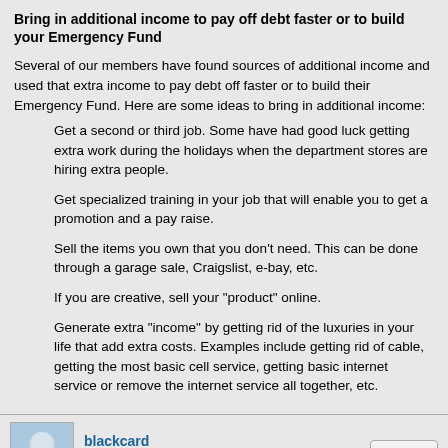Bring in additional income to pay off debt faster or to build your Emergency Fund
Several of our members have found sources of additional income and used that extra income to pay debt off faster or to build their Emergency Fund. Here are some ideas to bring in additional income:
Get a second or third job. Some have had good luck getting extra work during the holidays when the department stores are hiring extra people.
Get specialized training in your job that will enable you to get a promotion and a pay raise.
Sell the items you own that you don't need. This can be done through a garage sale, Craigslist, e-bay, etc.
If you are creative, sell your "product" online.
Generate extra "income" by getting rid of the luxuries in your life that add extra costs. Examples include getting rid of cable, getting the most basic cell service, getting basic internet service or remove the internet service all together, etc.
blackcard
Familiar Member
Jul 27, 2011 at 1:05am
I used the smallest debt approach and it worked perfectly. Only debt now is